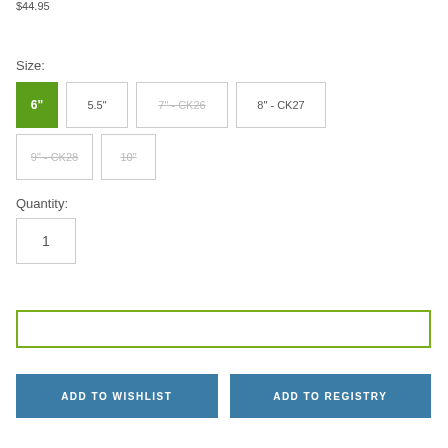$44.95
Size:
6"
5.5"
7" - CK26
8" - CK27
9" - CK28
10"
Quantity:
1
ADD TO WISHLIST
ADD TO REGISTRY